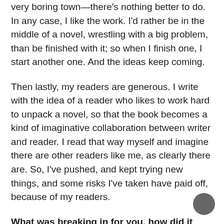very boring town—there's nothing better to do. In any case, I like the work. I'd rather be in the middle of a novel, wrestling with a big problem, than be finished with it; so when I finish one, I start another one. And the ideas keep coming.
Then lastly, my readers are generous. I write with the idea of a reader who likes to work hard to unpack a novel, so that the book becomes a kind of imaginative collaboration between writer and reader. I read that way myself and imagine there are other readers like me, as clearly there are. So, I've pushed, and kept trying new things, and some risks I've taken have paid off, because of my readers.
What was breaking in for you, how did it happen? Were there struggles or has it